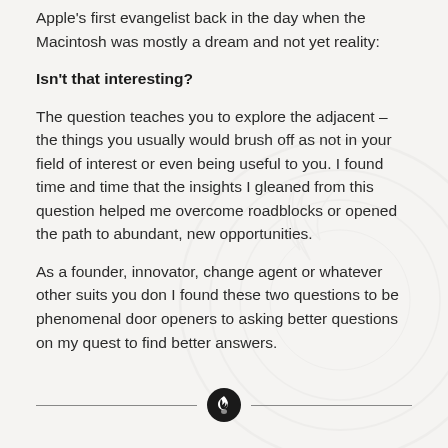Apple's first evangelist back in the day when the Macintosh was mostly a dream and not yet reality:
Isn't that interesting?
The question teaches you to explore the adjacent – the things you usually would brush off as not in your field of interest or even being useful to you. I found time and time that the insights I gleaned from this question helped me overcome roadblocks or opened the path to abundant, new opportunities.
As a founder, innovator, change agent or whatever other suits you don I found these two questions to be phenomenal door openers to asking better questions on my quest to find better answers.